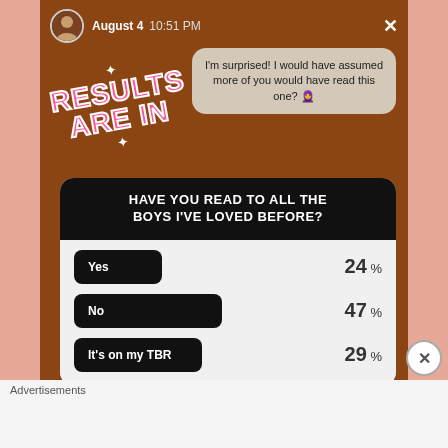August 4  10:51 PM
I'm surprised! I would have assumed more of you would have read this one? 🧕
[Figure (infographic): RESULTS ARE IN sticker text in pink bold with sparkles, rotated]
[Figure (bar-chart): HAVE YOU READ TO ALL THE BOYS I'VE LOVED BEFORE?]
Advertisements
[Figure (infographic): DAY ONE journaling app advertisement banner with icons and tagline: The only journaling app you'll ever need.]